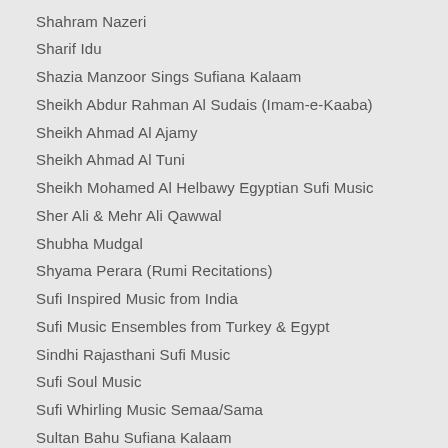Shahram Nazeri
Sharif Idu
Shazia Manzoor Sings Sufiana Kalaam
Sheikh Abdur Rahman Al Sudais (Imam-e-Kaaba)
Sheikh Ahmad Al Ajamy
Sheikh Ahmad Al Tuni
Sheikh Mohamed Al Helbawy Egyptian Sufi Music
Sher Ali & Mehr Ali Qawwal
Shubha Mudgal
Shyama Perara (Rumi Recitations)
Sufi Inspired Music from India
Sufi Music Ensembles from Turkey & Egypt
Sindhi Rajasthani Sufi Music
Sufi Soul Music
Sufi Whirling Music Semaa/Sama
Sultan Bahu Sufiana Kalaam
Surinder Kaur & Parkash Kaur
Syubbanul Akhyar Ensemble (Indonesian)
Tabrez Aziz Mian Qawwal